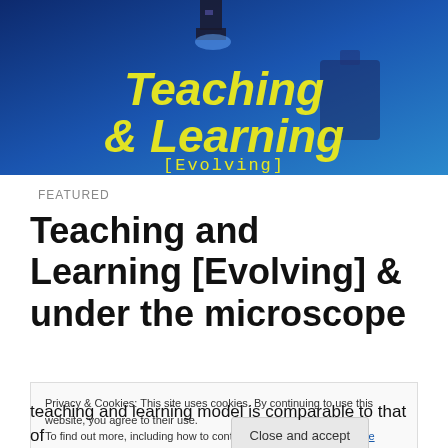[Figure (photo): Banner image with microscope in blue tones and yellow italic text reading 'Teaching & Learning [Evolving]']
FEATURED
Teaching and Learning [Evolving] & under the microscope
Privacy & Cookies: This site uses cookies. By continuing to use this website, you agree to their use.
To find out more, including how to control cookies, see here: Cookie Policy
teaching and learning model is comparable to that of